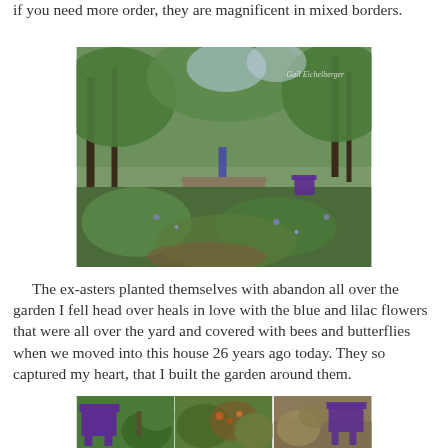if you need more order, they are magnificent in mixed borders.
[Figure (photo): Garden path through lush green foliage with trees overhead, purple chairs visible in the background, and blue/lilac flowers scattered throughout. Watermark reads 'Gail Eichelberger'.]
The ex-asters planted themselves with abandon all over the garden I fell head over heals in love with the blue and lilac flowers that were all over the yard and covered with bees and butterflies when we moved into this house 26 years ago today. They so captured my heart, that I built the garden around them.
[Figure (photo): Three garden photos side by side: left shows a purple Adirondack chair with green plants, center shows colorful garden plants and shrubs, right shows another purple Adirondack chair surrounded by faded garden plants.]